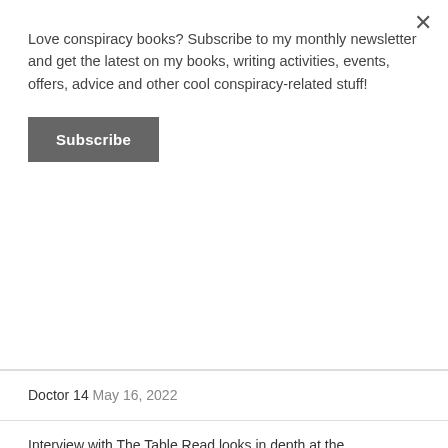Love conspiracy books? Subscribe to my monthly newsletter and get the latest on my books, writing activities, events, offers, advice and other cool conspiracy-related stuff!
Subscribe
Doctor 14 May 16, 2022
Interview with The Table Read looks in depth at the background of Million Eyes March 11, 2022
A reading of my uber-short story "There's Something About Anne" January 31, 2022
Blog tour roundup: Million Eyes II is a "madcap romp through time" that's "scarily plausible" – plus my speech